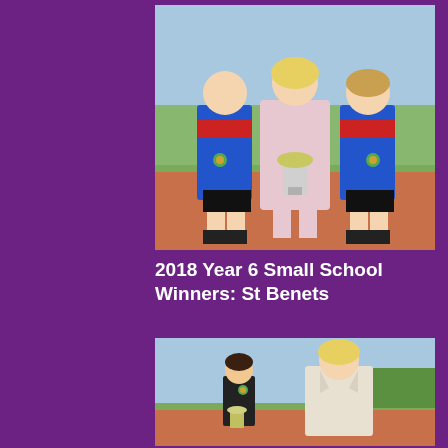[Figure (photo): Two children in blue and red athletic vests holding a trophy, flanking a blonde woman in a pale pink outfit, standing on an athletics track outdoors.]
2018 Year 6 Small School Winners: St Benets
[Figure (photo): A child in dark sportswear holding a small trophy, standing next to a blonde woman in a light blazer, on an athletics track outdoors.]